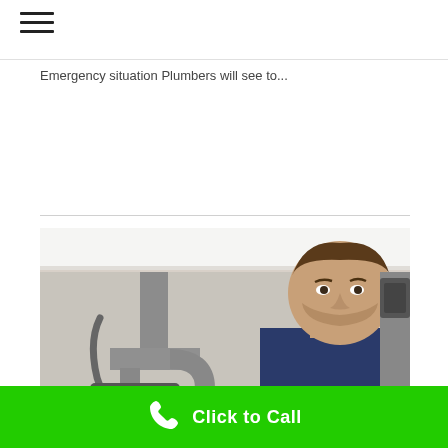Emergency situation Plumbers will see to...
[Figure (photo): A male plumber working under a sink, inspecting grey PVC drain pipes and connections in a cabinet, looking upward with a focused expression.]
Click to Call